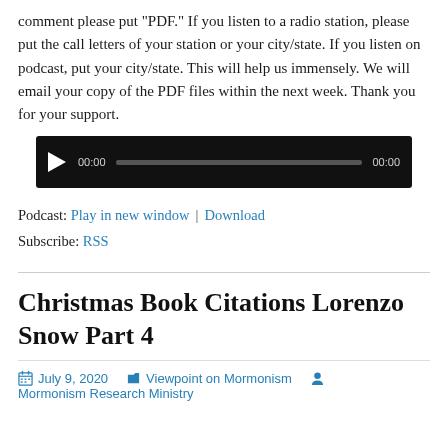comment please put “PDF.” If you listen to a radio station, please put the call letters of your station or your city/state. If you listen on podcast, put your city/state. This will help us immensely. We will email your copy of the PDF files within the next week. Thank you for your support.
[Figure (other): Audio player widget with play button, 00:00 start time, progress bar, and 00:00 end time on black background]
Podcast: Play in new window | Download
Subscribe: RSS
Christmas Book Citations Lorenzo Snow Part 4
July 9, 2020   Viewpoint on Mormonism   Mormonism Research Ministry